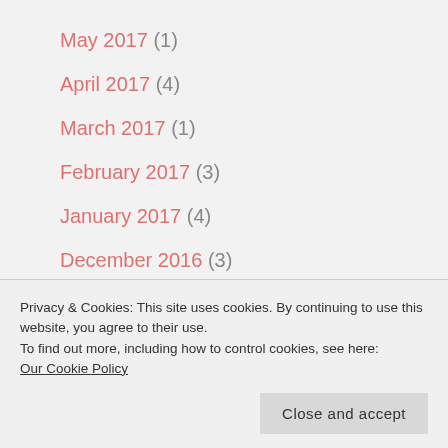May 2017 (1)
April 2017 (4)
March 2017 (1)
February 2017 (3)
January 2017 (4)
December 2016 (3)
November 2016 (6)
October 2016 (5)
Privacy & Cookies: This site uses cookies. By continuing to use this website, you agree to their use.
To find out more, including how to control cookies, see here:
Our Cookie Policy
Close and accept